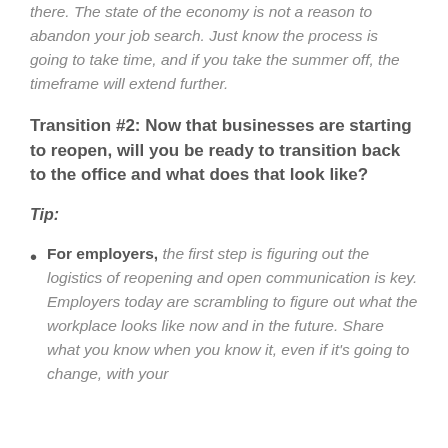there. The state of the economy is not a reason to abandon your job search. Just know the process is going to take time, and if you take the summer off, the timeframe will extend further.
Transition #2: Now that businesses are starting to reopen, will you be ready to transition back to the office and what does that look like?
Tip:
For employers, the first step is figuring out the logistics of reopening and open communication is key. Employers today are scrambling to figure out what the workplace looks like now and in the future. Share what you know when you know it, even if it's going to change, with your